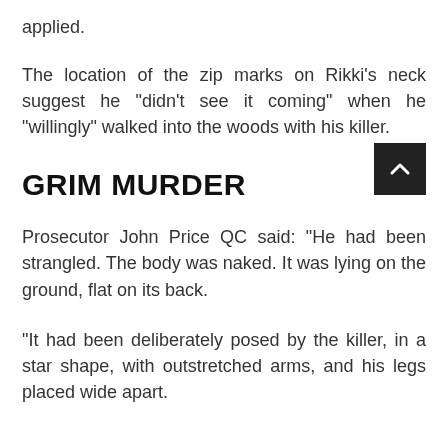applied.
The location of the zip marks on Rikki's neck suggest he "didn't see it coming" when he "willingly" walked into the woods with his killer.
GRIM MURDER
Prosecutor John Price QC said: "He had been strangled. The body was naked. It was lying on the ground, flat on its back.
"It had been deliberately posed by the killer, in a star shape, with outstretched arms, and his legs placed wide apart.